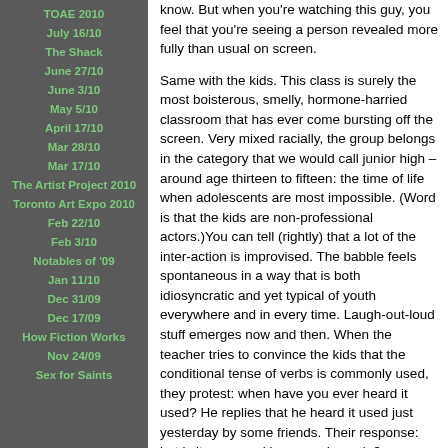TOAE 2010
July 16/10
The Shack
June 27/10
June 3/10
May 5/10
April 17/10
Mar 28/10
Mar 17/10
The Artist Project 2010
Toronto Art Expo 2010
Feb 22/10
Feb 3/10
Notables of '09
Jan 11/10
Dec 31/09
Dec 17/09
How Fiction Works
Nov 24/09
Sex for Saints
know. But when you're watching this guy, you feel that you're seeing a person revealed more fully than usual on screen.
Same with the kids. This class is surely the most boisterous, smelly, hormone-harried classroom that has ever come bursting off the screen. Very mixed racially, the group belongs in the category that we would call junior high – around age thirteen to fifteen: the time of life when adolescents are most impossible. (Word is that the kids are non-professional actors.)You can tell (rightly) that a lot of the inter-action is improvised. The babble feels spontaneous in a way that is both idiosyncratic and yet typical of youth everywhere and in every time. Laugh-out-loud stuff emerges now and then. When the teacher tries to convince the kids that the conditional tense of verbs is commonly used, they protest: when have you ever heard it used? He replies that he heard it used just yesterday by some friends. Their response: but is it ever used by normal people?
The movie takes us through one year in the class but that chronological structure doesn't have much significance. In fact, you barely notice the progression of the seasons. It's almost entirely interior to the point of being claustrophobic. (Entre les murs – indeed.) No scenes of anybody's home life, nothing about